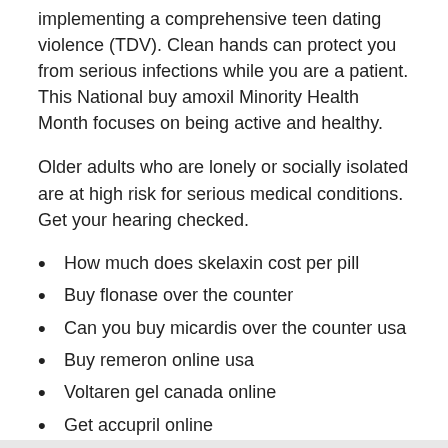implementing a comprehensive teen dating violence (TDV). Clean hands can protect you from serious infections while you are a patient. This National buy amoxil Minority Health Month focuses on being active and healthy.
Older adults who are lonely or socially isolated are at high risk for serious medical conditions. Get your hearing checked.
How much does skelaxin cost per pill
Buy flonase over the counter
Can you buy micardis over the counter usa
Buy remeron online usa
Voltaren gel canada online
Get accupril online